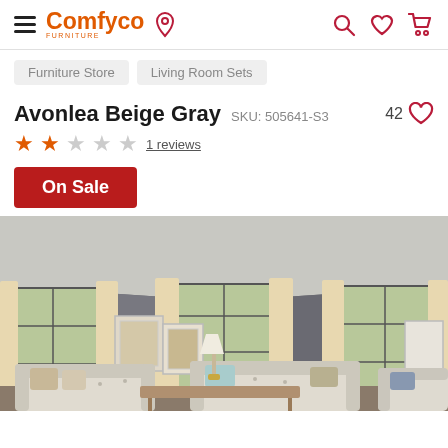Comfyco Furniture — navigation header with hamburger menu, logo, location pin, search, wishlist, cart icons
Furniture Store
Living Room Sets
Avonlea Beige Gray  SKU: 505641-S3  42 ♡
★★☆☆☆  1 reviews
On Sale
[Figure (photo): Living room set photo showing beige/gray upholstered sofa and chairs in a dark-gray walled room with large windows, cream curtains, wall art, and a lamp on a side table.]